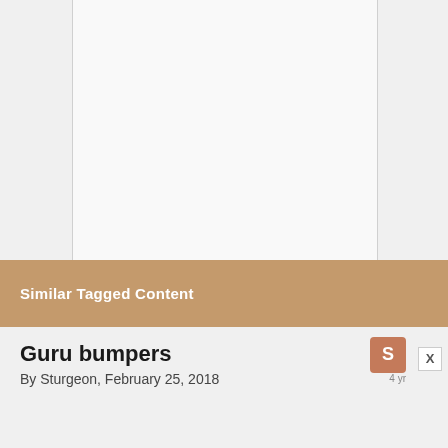[Figure (other): White content card area with light gray background and border lines on left and right sides]
Similar Tagged Content
Guru bumpers
By Sturgeon, February 25, 2018